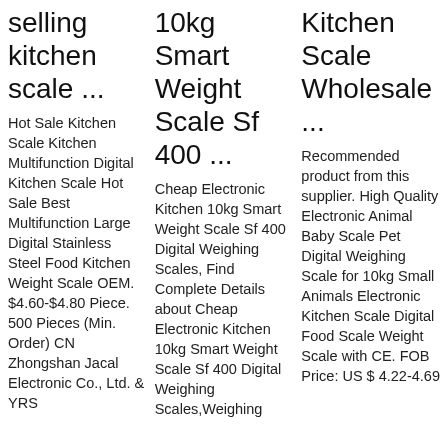selling kitchen scale ...
Hot Sale Kitchen Scale Kitchen Multifunction Digital Kitchen Scale Hot Sale Best Multifunction Large Digital Stainless Steel Food Kitchen Weight Scale OEM. $4.60-$4.80 Piece. 500 Pieces (Min. Order) CN Zhongshan Jacal Electronic Co., Ltd. & YRS
10kg Smart Weight Scale Sf 400 ...
Cheap Electronic Kitchen 10kg Smart Weight Scale Sf 400 Digital Weighing Scales, Find Complete Details about Cheap Electronic Kitchen 10kg Smart Weight Scale Sf 400 Digital Weighing Scales,Weighing
Kitchen Scale Wholesale ...
Recommended product from this supplier. High Quality Electronic Animal Baby Scale Pet Digital Weighing Scale for 10kg Small Animals Electronic Kitchen Scale Digital Food Scale Weight Scale with CE. FOB Price: US $ 4.22-4.69